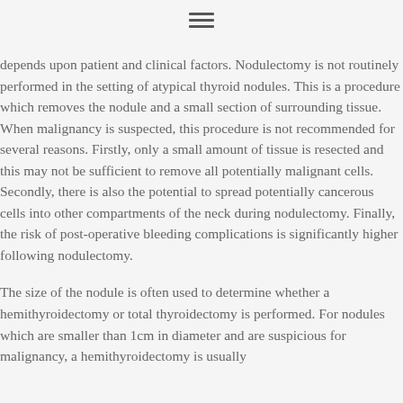[Figure (other): Hamburger menu icon (three horizontal lines)]
depends upon patient and clinical factors. Nodulectomy is not routinely performed in the setting of atypical thyroid nodules. This is a procedure which removes the nodule and a small section of surrounding tissue. When malignancy is suspected, this procedure is not recommended for several reasons. Firstly, only a small amount of tissue is resected and this may not be sufficient to remove all potentially malignant cells. Secondly, there is also the potential to spread potentially cancerous cells into other compartments of the neck during nodulectomy. Finally, the risk of post-operative bleeding complications is significantly higher following nodulectomy.
The size of the nodule is often used to determine whether a hemithyroidectomy or total thyroidectomy is performed. For nodules which are smaller than 1cm in diameter and are suspicious for malignancy, a hemithyroidectomy is usually